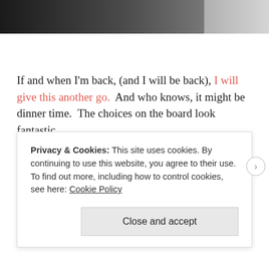[Figure (photo): Top portion of a photo strip showing a dark left section fading to a lighter grey-white on the right, likely a restaurant or cafe interior image.]
If and when I'm back, (and I will be back), I will give this another go.  And who knows, it might be dinner time.  The choices on the board look fantastic.
If you're in the area or plan on driving through, I would absolutely stop in.   The service was top notch and no thrills.  In this setting, it worked perfectly.  More to come.
Privacy & Cookies: This site uses cookies. By continuing to use this website, you agree to their use.
To find out more, including how to control cookies, see here: Cookie Policy
Close and accept